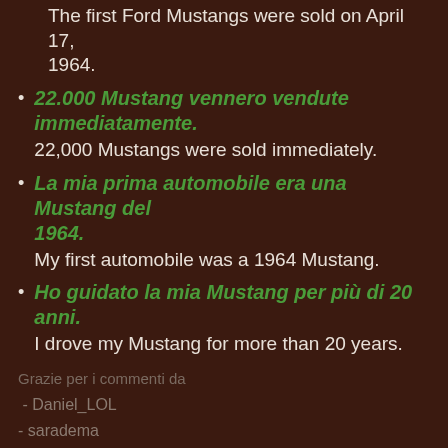The first Ford Mustangs were sold on April 17, 1964.
22.000 Mustang vennero vendute immediatamente.
22,000 Mustangs were sold immediately.
La mia prima automobile era una Mustang del 1964.
My first automobile was a 1964 Mustang.
Ho guidato la mia Mustang per più di 20 anni.
I drove my Mustang for more than 20 years.
Grazie per i commenti da
- Daniel_LOL
- saradema
- Anasdav
Alla prossima!
- - - - - - - - - -
*Note: This is my personal journal of daily practice in learning